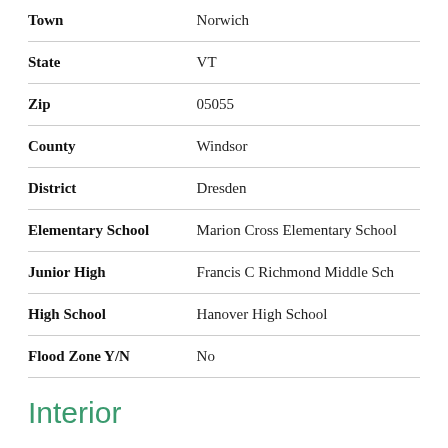| Field | Value |
| --- | --- |
| Town | Norwich |
| State | VT |
| Zip | 05055 |
| County | Windsor |
| District | Dresden |
| Elementary School | Marion Cross Elementary School |
| Junior High | Francis C Richmond Middle Sch |
| High School | Hanover High School |
| Flood Zone Y/N | No |
Interior
| Field | Value |
| --- | --- |
| Interior Features | Fireplace - Gas |